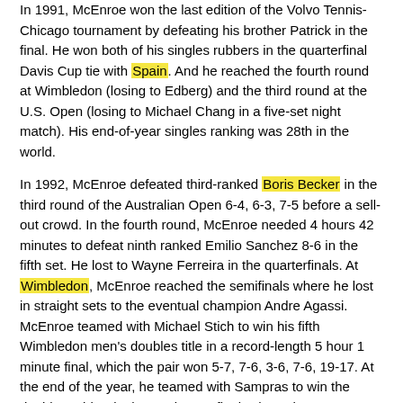In 1991, McEnroe won the last edition of the Volvo Tennis-Chicago tournament by defeating his brother Patrick in the final. He won both of his singles rubbers in the quarterfinal Davis Cup tie with Spain. And he reached the fourth round at Wimbledon (losing to Edberg) and the third round at the U.S. Open (losing to Michael Chang in a five-set night match). His end-of-year singles ranking was 28th in the world.
In 1992, McEnroe defeated third-ranked Boris Becker in the third round of the Australian Open 6-4, 6-3, 7-5 before a sell-out crowd. In the fourth round, McEnroe needed 4 hours 42 minutes to defeat ninth ranked Emilio Sanchez 8-6 in the fifth set. He lost to Wayne Ferreira in the quarterfinals. At Wimbledon, McEnroe reached the semifinals where he lost in straight sets to the eventual champion Andre Agassi. McEnroe teamed with Michael Stich to win his fifth Wimbledon men's doubles title in a record-length 5 hour 1 minute final, which the pair won 5-7, 7-6, 3-6, 7-6, 19-17. At the end of the year, he teamed with Sampras to win the doubles rubber in the Davis Cup final, where the U.S. defeated Switzerland 3-1.
McEnroe retired from the professional tour at the end of 1992. He ended his singles career ranked 20th in the world.
Career statistics
McEnroe won a total of 155 top-level titles (a record for a male professional) during his career — 84 in singles (including 76 listed on the website maintained by the Association of Tennis Professionals (ATP)), 70